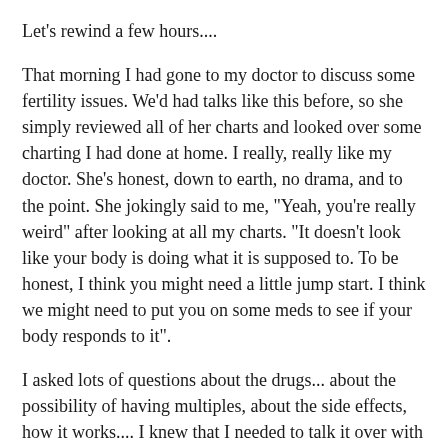Let's rewind a few hours....
That morning I had gone to my doctor to discuss some fertility issues. We'd had talks like this before, so she simply reviewed all of her charts and looked over some charting I had done at home. I really, really like my doctor. She's honest, down to earth, no drama, and to the point. She jokingly said to me, "Yeah, you're really weird" after looking at all my charts. "It doesn't look like your body is doing what it is supposed to. To be honest, I think you might need a little jump start. I think we might need to put you on some meds to see if your body responds to it".
I asked lots of questions about the drugs... about the possibility of having multiples, about the side effects, how it works.... I knew that I needed to talk it over with Grant. My doctor and I agreed that she would write me a prescription for the meds, and after I discussed it with Grant then we would decide whether or not to fill the prescription.
I left the doctor's office and started driving to Starbucks. I was somewhat discouraged. Somewhat hopeful. I was accepting of